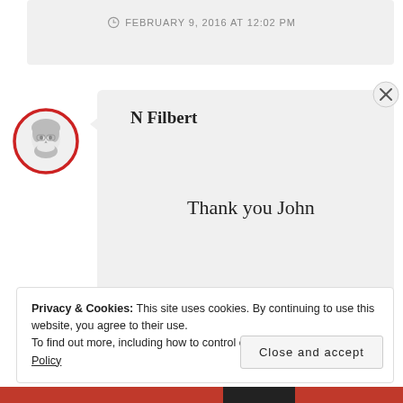FEBRUARY 9, 2016 AT 12:02 PM
[Figure (illustration): Circular avatar with red border showing a hand-drawn illustration of a bearded person]
N Filbert
Thank you John
FEBRUARY 9, 2016 AT 12:10 PM
Privacy & Cookies: This site uses cookies. By continuing to use this website, you agree to their use.
To find out more, including how to control cookies, see here: Cookie Policy
Close and accept